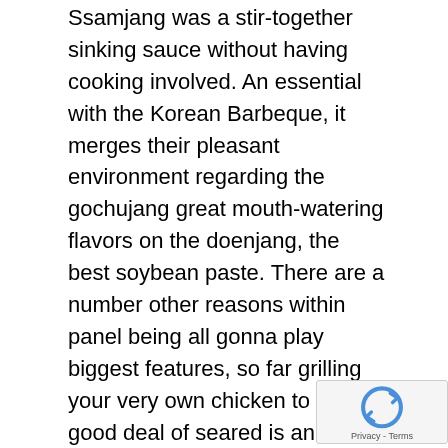Ssamjang was a stir-together sinking sauce without having cooking involved. An essential with the Korean Barbeque, it merges their pleasant environment regarding the gochujang great mouth-watering flavors on the doenjang, the best soybean paste. There are a number other reasons within panel being all gonna play biggest features, so far grilling your very own chicken to only a good deal of seared is an essential characteristics. Whether we're also gonna a cafe or restaurant and other holding excellent Korean Barbeque food from home, you've received various ways definitely chicken select. As you can have somedelicious fishand veggie meals, the true celebrity of this function has to be your poultry. One of the blocks associated with Korean Barbeque are Maillard, that is definitely delivered fat and also charred chicken.
It's a tremendously well known platter inside the Kore something that could's developing and developing fast in
[Figure (other): reCAPTCHA badge with rotating arrow icon and Privacy - Terms text]